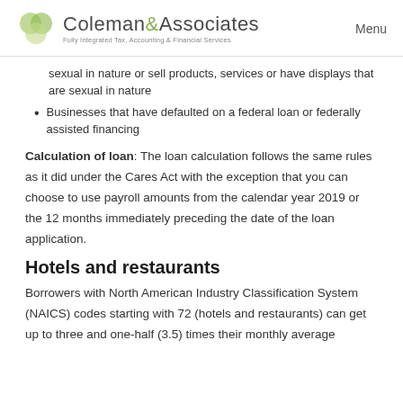Coleman & Associates — Fully Integrated Tax, Accounting & Financial Services | Menu
sexual in nature or sell products, services or have displays that are sexual in nature
Businesses that have defaulted on a federal loan or federally assisted financing
Calculation of loan: The loan calculation follows the same rules as it did under the Cares Act with the exception that you can choose to use payroll amounts from the calendar year 2019 or the 12 months immediately preceding the date of the loan application.
Hotels and restaurants
Borrowers with North American Industry Classification System (NAICS) codes starting with 72 (hotels and restaurants) can get up to three and one-half (3.5) times their monthly average